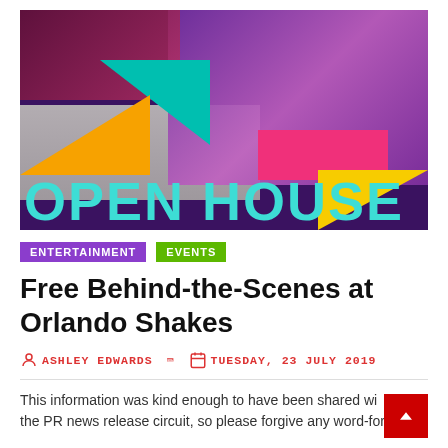[Figure (illustration): Open House promotional banner with colorful geometric shapes (orange, teal, pink, yellow), photographic collage of performers and backstage scenes, and large teal 'OPEN HOUSE' text at bottom.]
ENTERTAINMENT
EVENTS
Free Behind-the-Scenes at Orlando Shakes
ASHLEY EDWARDS   TUESDAY, 23 JULY 2019
This information was kind enough to have been shared with the PR news release circuit, so please forgive any word-for-word